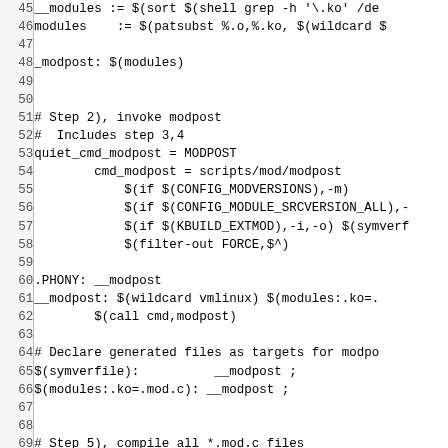Code listing lines 45-74 of a Linux kernel Makefile showing module build steps
45: __modules := $(sort $(shell grep -h '\.ko' /de
46: modules    := $(patsubst %.o,%.ko, $(wildcard $
47: (blank)
48: _modpost: $(modules)
49: (blank)
50: (blank)
51: # Step 2), invoke modpost
52: #  Includes step 3,4
53: quiet_cmd_modpost = MODPOST
54:         cmd_modpost = scripts/mod/modpost
55:             $(if $(CONFIG_MODVERSIONS),-m)
56:             $(if $(CONFIG_MODULE_SRCVERSION_ALL),-
57:             $(if $(KBUILD_EXTMOD),-i,-o) $(symverf
58:             $(filter-out FORCE,$^)
59: (blank)
60: .PHONY: __modpost
61: __modpost: $(wildcard vmlinux) $(modules:.ko=.
62:         $(call cmd,modpost)
63: (blank)
64: # Declare generated files as targets for modpo
65: $(symverfile):          __modpost ;
66: $(modules:.ko=.mod.c): __modpost ;
67: (blank)
68: (blank)
69: # Step 5), compile all *.mod.c files
70: (blank)
71: # modname is set to make c_flags define KBUILD
72: modname = $(*F)
73: (blank)
74: quiet_cmd_cc_o_c = CC      $@